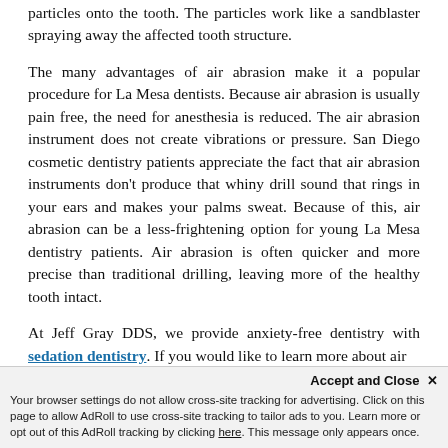particles onto the tooth. The particles work like a sandblaster spraying away the affected tooth structure.
The many advantages of air abrasion make it a popular procedure for La Mesa dentists. Because air abrasion is usually pain free, the need for anesthesia is reduced. The air abrasion instrument does not create vibrations or pressure. San Diego cosmetic dentistry patients appreciate the fact that air abrasion instruments don't produce that whiny drill sound that rings in your ears and makes your palms sweat. Because of this, air abrasion can be a less-frightening option for young La Mesa dentistry patients. Air abrasion is often quicker and more precise than traditional drilling, leaving more of the healthy tooth intact.
At Jeff Gray DDS, we provide anxiety-free dentistry with sedation dentistry. If you would like to learn more about air
Accept and Close ×
Your browser settings do not allow cross-site tracking for advertising. Click on this page to allow AdRoll to use cross-site tracking to tailor ads to you. Learn more or opt out of this AdRoll tracking by clicking here. This message only appears once.